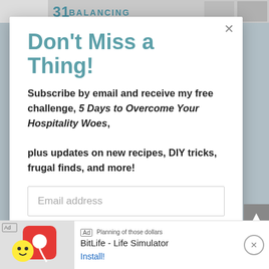[Figure (screenshot): Top of webpage showing partial book cover banner with teal '31 BALANCING' text and other book imagery]
Don't Miss a Thing!
Subscribe by email and receive my free challenge, 5 Days to Overcome Your Hospitality Woes, plus updates on new recipes, DIY tricks, frugal finds, and more!
Email address
SUBSCRIBE
[Figure (screenshot): Ad banner for BitLife - Life Simulator with Ad label, app icon, and Install button]